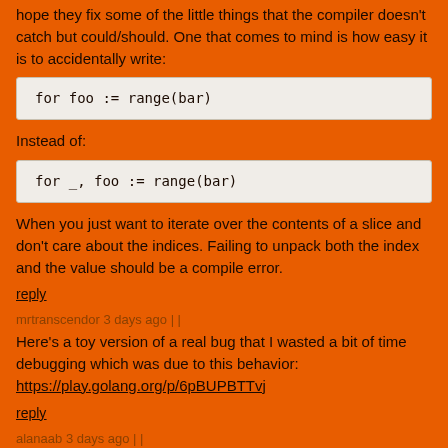hope they fix some of the little things that the compiler doesn't catch but could/should. One that comes to mind is how easy it is to accidentally write:
Instead of:
When you just want to iterate over the contents of a slice and don't care about the indices. Failing to unpack both the index and the value should be a compile error.
reply
mrtranscendor 3 days ago | |
Here's a toy version of a real bug that I wasted a bit of time debugging which was due to this behavior:
https://play.golang.org/p/6pBUPBTTvj
reply
alanaab 3 days ago | |
Would be cool if you could consider doing a writeup about it, and linking it on the mentioned wiki page.